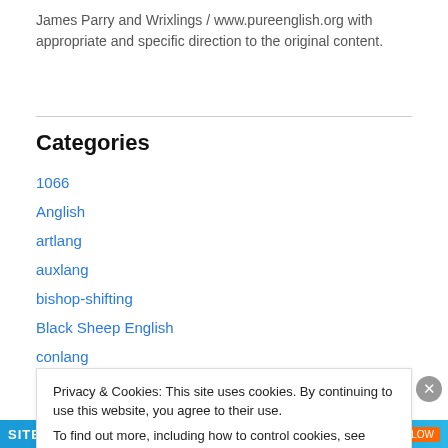James Parry and Wrixlings / www.pureenglish.org with appropriate and specific direction to the original content.
Categories
1066
Anglish
artlang
auxlang
bishop-shifting
Black Sheep English
conlang
Privacy & Cookies: This site uses cookies. By continuing to use this website, you agree to their use. To find out more, including how to control cookies, see here: Cookie Policy
Close and accept